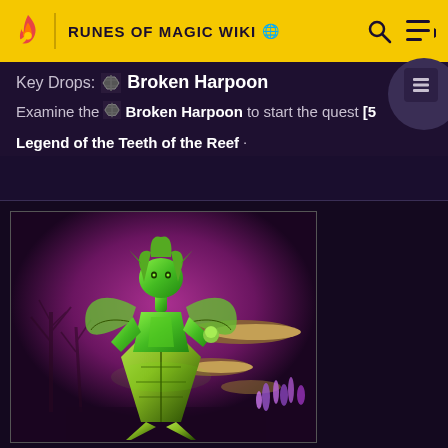RUNES OF MAGIC WIKI
Key Drops: Broken Harpoon
Examine the Broken Harpoon to start the quest [5 Legend of the Teeth of the Reef.
[Figure (illustration): Green-skinned fantasy female character in ornate armor/robe standing in a purple magical environment with floating platforms and coral-like plants]